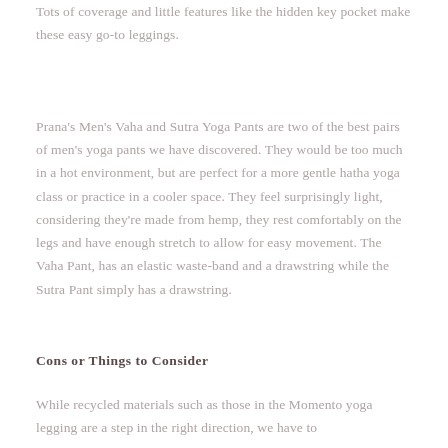Tots of coverage and little features like the hidden key pocket make these easy go-to leggings.
Prana's Men's Vaha and Sutra Yoga Pants are two of the best pairs of men's yoga pants we have discovered. They would be too much in a hot environment, but are perfect for a more gentle hatha yoga class or practice in a cooler space. They feel surprisingly light, considering they're made from hemp, they rest comfortably on the legs and have enough stretch to allow for easy movement. The Vaha Pant, has an elastic waste-band and a drawstring while the Sutra Pant simply has a drawstring.
Cons or Things to Consider
While recycled materials such as those in the Momento yoga legging are a step in the right direction, we have to